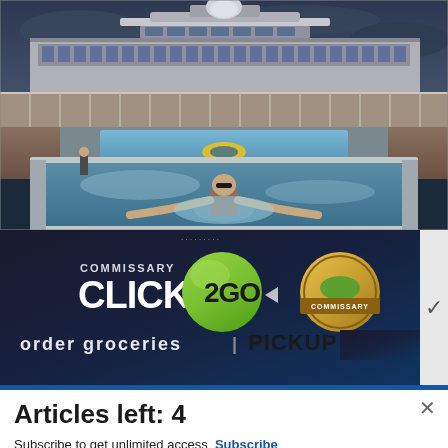[Figure (photo): A person swimming in a pool on the deck of a cruise ship. The ship's upper decks and superstructure are visible in the background under a cloudy sky. The swimmer is in the foreground with arms spread wide in the pool water.]
[Figure (screenshot): Advertisement banner for Commissary Click2Go service showing green circular logo with '2GO' text, Commissary badge logo, and partially visible text 'order groceries' and 'PICKUP'. Dark blue/navy background.]
Articles left: 4
Subscribe to get unlimited access  Subscribe
Already have an account?  Login here